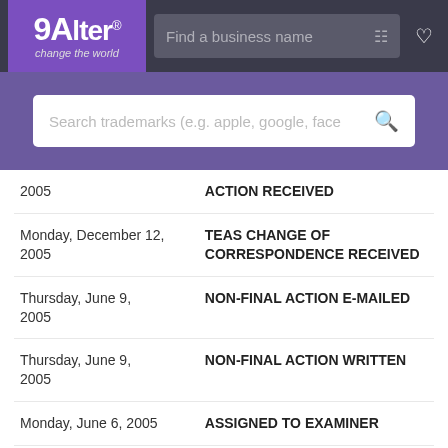Alter - change the world | Find a business name
[Figure (screenshot): Search bar with placeholder text 'Search trademarks (e.g. apple, google, face']
| Date | Action |
| --- | --- |
| 2005 | ACTION RECEIVED |
| Monday, December 12, 2005 | TEAS CHANGE OF CORRESPONDENCE RECEIVED |
| Thursday, June 9, 2005 | NON-FINAL ACTION E-MAILED |
| Thursday, June 9, 2005 | NON-FINAL ACTION WRITTEN |
| Monday, June 6, 2005 | ASSIGNED TO EXAMINER |
| Monday, November 8, 2004 | NEW APPLICATION ENTERED IN TRAM |